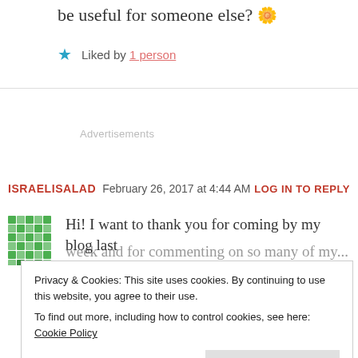be useful for someone else? 🌼
★ Liked by 1 person
Advertisements
ISRAELISALAD   February 26, 2017 at 4:44 AM   LOG IN TO REPLY
[Figure (photo): Green mosaic avatar icon for user ISRAELISALAD]
Hi! I want to thank you for coming by my blog last week and for commenting on so many of my...
which I understand you might not accept, since
Privacy & Cookies: This site uses cookies. By continuing to use this website, you agree to their use. To find out more, including how to control cookies, see here: Cookie Policy
Close and accept